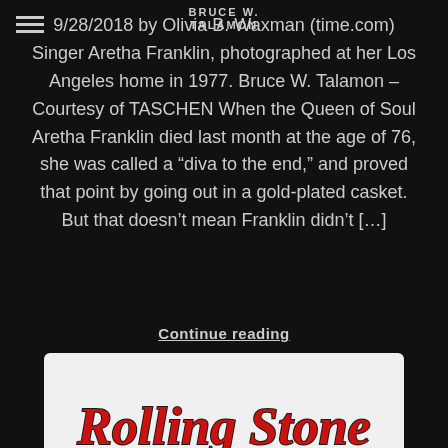BRUCE W. TALAMON
9/28/2018 by Olivia B. Waxman (time.com) Singer Aretha Franklin, photographed at her Los Angeles home in 1977. Bruce W. Talamon – Courtesy of TASCHEN When the Queen of Soul Aretha Franklin died last month at the age of 76, she was called a “diva to the end,” and proved that point by going out in a gold-plated casket. But that doesn’t mean Franklin didn’t […]
Continue reading
NEWS/PRESS
[Figure (logo): Rolling Stone magazine logo in red and black at the bottom of the page]